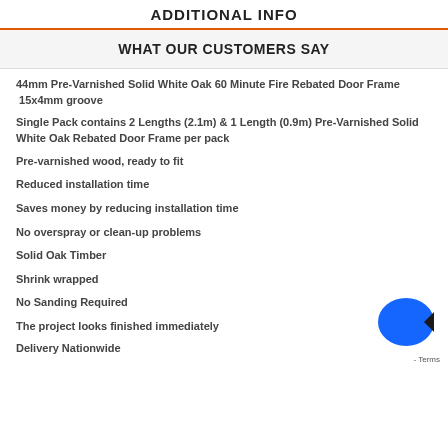ADDITIONAL INFO
WHAT OUR CUSTOMERS SAY
44mm Pre-Varnished Solid White Oak 60 Minute Fire Rebated Door Frame  15x4mm groove
Single Pack contains 2 Lengths (2.1m) & 1 Length (0.9m) Pre-Varnished Solid White Oak Rebated Door Frame per pack
Pre-varnished wood, ready to fit
Reduced installation time
Saves money by reducing installation time
No overspray or clean-up problems
Solid Oak Timber
Shrink wrapped
No Sanding Required
The project looks finished immediately
Delivery Nationwide